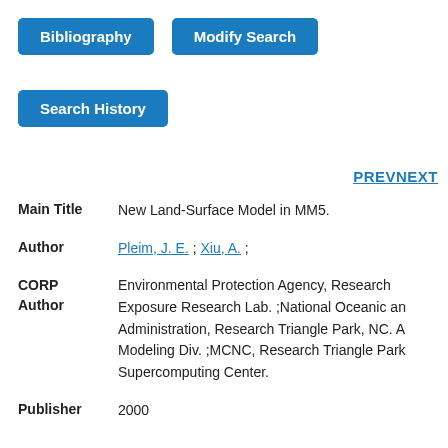[Figure (screenshot): Blue button labeled 'Bibliography']
[Figure (screenshot): Blue button labeled 'Modify Search']
[Figure (screenshot): Blue button labeled 'Search History']
PREV NEXT
Main Title    New Land-Surface Model in MM5.
Author    Pleim, J. E. ; Xiu, A. ;
CORP Author    Environmental Protection Agency, Research Exposure Research Lab. ;National Oceanic and Administration, Research Triangle Park, NC. Atmospheric Modeling Div. ;MCNC, Research Triangle Park, Microelectronics Center Supercomputing Center.
Publisher    2000